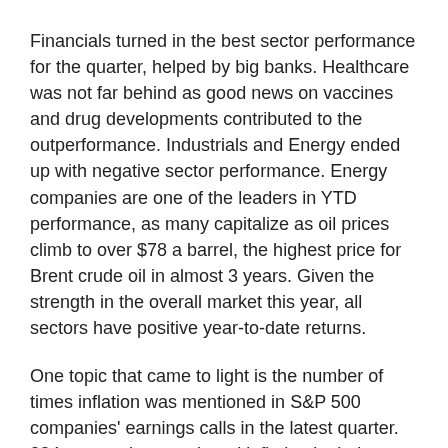Financials turned in the best sector performance for the quarter, helped by big banks. Healthcare was not far behind as good news on vaccines and drug developments contributed to the outperformance. Industrials and Energy ended up with negative sector performance. Energy companies are one of the leaders in YTD performance, as many capitalize as oil prices climb to over $78 a barrel, the highest price for Brent crude oil in almost 3 years. Given the strength in the overall market this year, all sectors have positive year-to-date returns.
One topic that came to light is the number of times inflation was mentioned in S&P 500 companies' earnings calls in the latest quarter. 224 companies mentioned inflation in their earnings calls - the highest number of inflation mentions since 2010.¹